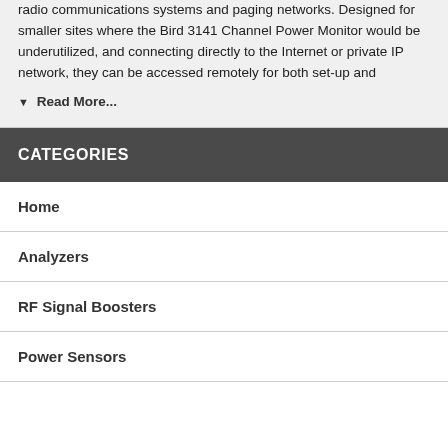radio communications systems and paging networks. Designed for smaller sites where the Bird 3141 Channel Power Monitor would be underutilized, and connecting directly to the Internet or private IP network, they can be accessed remotely for both set-up and
▼ Read More...
CATEGORIES
Home
Analyzers
RF Signal Boosters
Power Sensors